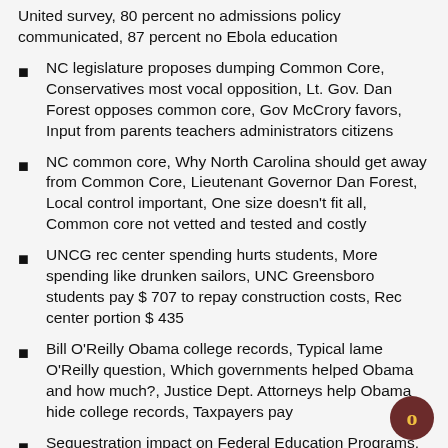United survey, 80 percent no admissions policy communicated, 87 percent no Ebola education
NC legislature proposes dumping Common Core, Conservatives most vocal opposition, Lt. Gov. Dan Forest opposes common core, Gov McCrory favors, Input from parents teachers administrators citizens
NC common core, Why North Carolina should get away from Common Core, Lieutenant Governor Dan Forest, Local control important, One size doesn't fit all, Common core not vetted and tested and costly
UNCG rec center spending hurts students, More spending like drunken sailors, UNC Greensboro students pay $ 707 to repay construction costs, Rec center portion $ 435
Bill O'Reilly Obama college records, Typical lame O'Reilly question, Which governments helped Obama and how much?, Justice Dept. Attorneys help Obama hide college records, Taxpayers pay
Sequestration impact on Federal Education Programs,